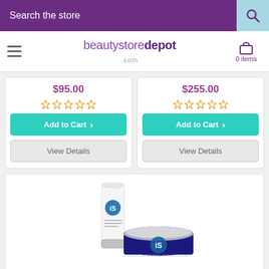Search the store
[Figure (logo): beautystoredepot.com logo with hamburger menu and cart showing 0 items]
$95.00
[Figure (infographic): 5 empty gold star rating]
Add to Cart
View Details
$255.00
[Figure (infographic): 5 empty gold star rating]
Add to Cart
View Details
[Figure (photo): iS Clinical skincare product - white tube and blue jar with silver lid]